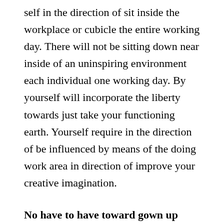self in the direction of sit inside the workplace or cubicle the entire working day. There will not be sitting down near inside of an uninspiring environment each individual one working day. By yourself will incorporate the liberty towards just take your functioning earth. Yourself require in the direction of be influenced by means of the doing work area in direction of improve your creative imagination.
No have to have toward gown up